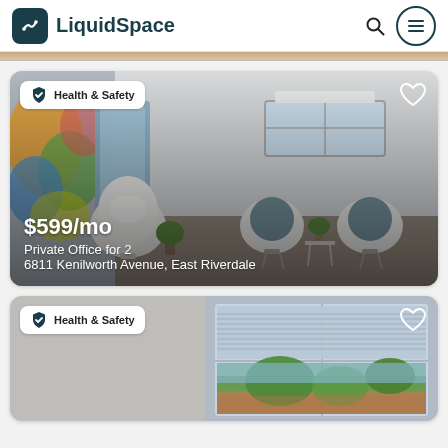LiquidSpace
[Figure (photo): Interior office photo showing modern white chairs, colorful wall art, and a bright window. Listing card for Private Office for 2 at $599/mo, 6811 Kenilworth Avenue, East Riverdale. Health & Safety badge visible.]
[Figure (photo): Second listing card showing an interior room with a large window and blinds. Health & Safety badge visible.]